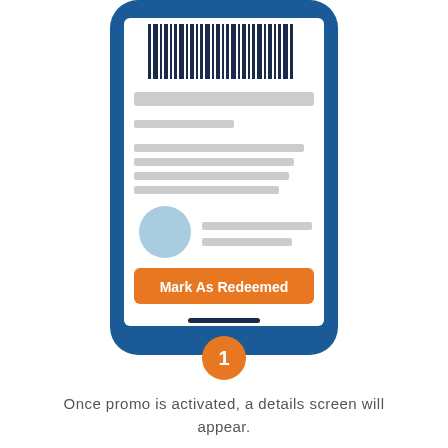[Figure (illustration): Illustration of a smartphone showing a coupon/promo details screen with a barcode at the top, placeholder text lines, a user avatar circle, and an orange 'Mark As Redeemed' button. A numbered orange circle badge showing '1' appears at the bottom of the phone.]
Once promo is activated, a details screen will appear.